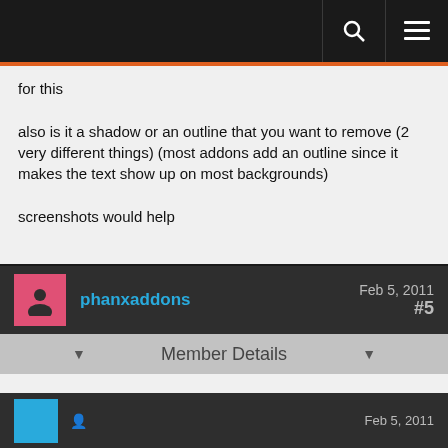Navigation header with search and menu icons
for this

also is it a shadow or an outline that you want to remove (2 very different things) (most addons add an outline since it makes the text show up on most backgrounds)

screenshots would help
phanxaddons  Feb 5, 2011  #5
Member Details
WoW puts shadows on font strings by default. In order to get rid of the shadow, an addon has to explicitly set the shadow offset to 0 after creating the font string.